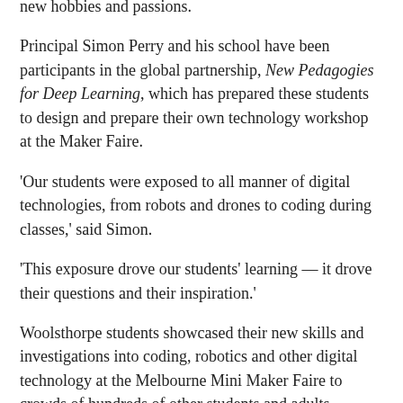new hobbies and passions.
Principal Simon Perry and his school have been participants in the global partnership, New Pedagogies for Deep Learning, which has prepared these students to design and prepare their own technology workshop at the Maker Faire.
'Our students were exposed to all manner of digital technologies, from robots and drones to coding during classes,' said Simon.
'This exposure drove our students' learning — it drove their questions and their inspiration.'
Woolsthorpe students showcased their new skills and investigations into coding, robotics and other digital technology at the Melbourne Mini Maker Faire to crowds of hundreds of other students and adults.